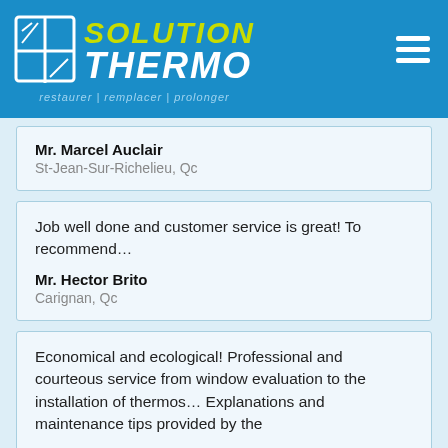[Figure (logo): Solution Thermo logo with window icon, company name in white and yellow-green italic text, tagline 'restaurer | remplacer | prolonger' in light blue italic]
Mr. Marcel Auclair
St-Jean-Sur-Richelieu, Qc
Job well done and customer service is great! To recommend...

Mr. Hector Brito
Carignan, Qc
Economical and ecological! Professional and courteous service from window evaluation to the installation of thermos... Explanations and maintenance tips provided by the